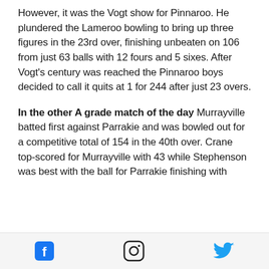However, it was the Vogt show for Pinnaroo. He plundered the Lameroo bowling to bring up three figures in the 23rd over, finishing unbeaten on 106 from just 63 balls with 12 fours and 5 sixes. After Vogt's century was reached the Pinnaroo boys decided to call it quits at 1 for 244 after just 23 overs.
In the other A grade match of the day Murrayville batted first against Parrakie and was bowled out for a competitive total of 154 in the 40th over. Crane top-scored for Murrayville with 43 while Stephenson was best with the ball for Parrakie finishing with
Social media icons: Facebook, Instagram, Twitter